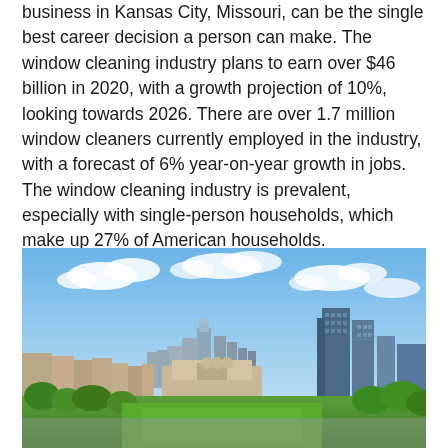business in Kansas City, Missouri, can be the single best career decision a person can make. The window cleaning industry plans to earn over $46 billion in 2020, with a growth projection of 10%, looking towards 2026. There are over 1.7 million window cleaners currently employed in the industry, with a forecast of 6% year-on-year growth in jobs. The window cleaning industry is prevalent, especially with single-person households, which make up 27% of American households.
[Figure (photo): Aerial/elevated view of the Kansas City, Missouri skyline showing downtown buildings, Union Station, green trees, and high-rise buildings under a partly cloudy blue sky.]